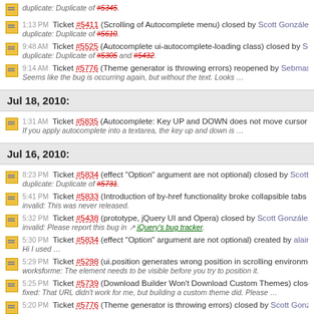1:13 PM Ticket #5411 (Scrolling of Autocomplete menu) closed by Scott González. duplicate: Duplicate of #5610.
9:48 AM Ticket #5525 (Autocomplete ui-autocomplete-loading class) closed by Scott González. duplicate: Duplicate of #5305 and #5432.
9:14 AM Ticket #5776 (Theme generator is throwing errors) reopened by Sebmaster. Seems like the bug is occurring again, but without the text. Looks …
Jul 18, 2010:
1:31 AM Ticket #5835 (Autocomplete: Key UP and DOWN does not move cursor in Textarea). If you apply autocomplete into a textarea, the key up and down is …
Jul 16, 2010:
8:23 PM Ticket #5834 (effect "Option" argument are not optional) closed by Scott González. duplicate: Duplicate of #5731.
5:41 PM Ticket #5833 (Introduction of by-href functionality broke collapsible tabs functionality). invalid: This was never released.
5:32 PM Ticket #5438 (prototype, jQuery UI and Opera) closed by Scott González. invalid: Please report this bug in jQuery's bug tracker.
5:30 PM Ticket #5834 (effect "Option" argument are not optional) created by alaing. Hi I used …
5:29 PM Ticket #5298 (ui.position generates wrong position in scrolling environment) closed. worksforme: The element needs to be visible before you try to position it.
5:25 PM Ticket #5739 (Download Builder Won't Download Custom Themes) closed by Scott. fixed: That URL didn't work for me, but building a custom theme did. Please …
5:20 PM Ticket #5776 (Theme generator is throwing errors) closed by Scott González